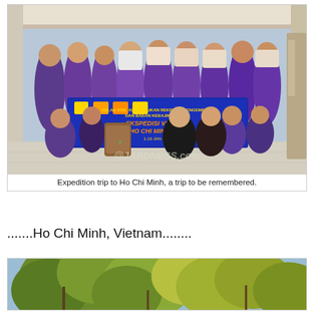[Figure (photo): Group photo of people wearing purple shirts standing and kneeling, holding a blue banner that reads 'Ekspedisi Vietnam Ho Chi Minh City' with logos. Watermark '@JARDNESS.com' visible. Setting appears to be an outdoor covered area.]
Expedition trip to Ho Chi Minh, a trip to be remembered.
.......Ho Chi Minh, Vietnam........
[Figure (photo): Outdoor photo showing tree canopy and blue sky, appears to be taken in Vietnam.]